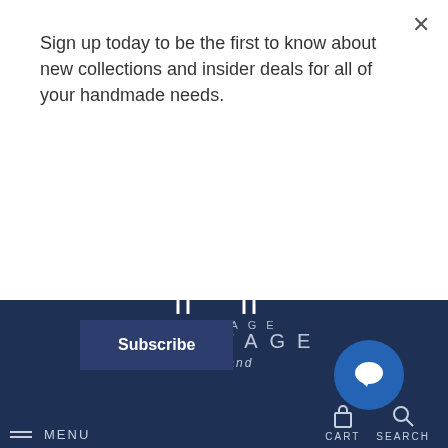Sign up today to be the first to know about new collections and insider deals for all of your handmade needs.
Subscribe
If you are not satisfied with our response to your complaint, you have the right to lodge your complaint with the relevant data protection authority.
[Figure (logo): Heritage by Hand logo — stylized H made of vertical and horizontal lines on dark navy background, with text HERITAGE by Hand below]
MENU
CART
SEARCH